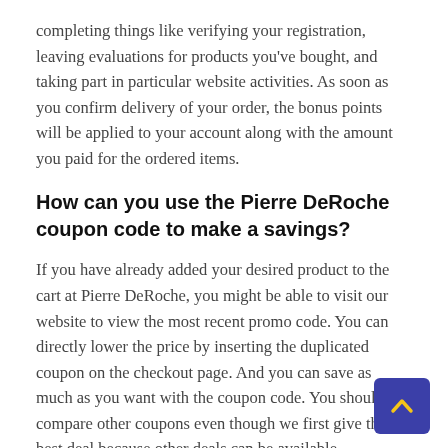completing things like verifying your registration, leaving evaluations for products you've bought, and taking part in particular website activities. As soon as you confirm delivery of your order, the bonus points will be applied to your account along with the amount you paid for the ordered items.
How can you use the Pierre DeRoche coupon code to make a savings?
If you have already added your desired product to the cart at Pierre DeRoche, you might be able to visit our website to view the most recent promo code. You can directly lower the price by inserting the duplicated coupon on the checkout page. And you can save as much as you want with the coupon code. You should compare other coupons even though we first give the best deal because other deals can be available. Alternatively, to ensure that you get the best deal, we will provide you with a special code during